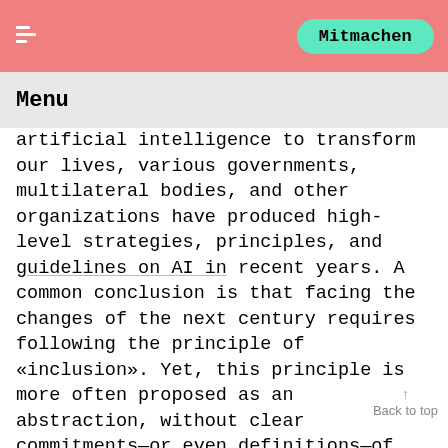Mitmachen
Menu
artificial intelligence to transform our lives, various governments, multilateral bodies, and other organizations have produced high-level strategies, principles, and guidelines on AI in recent years. A common conclusion is that facing the changes of the next century requires following the principle of «inclusion». Yet, this principle is more often proposed as an abstraction, without clear commitments—or even definitions—of where, how, and who is to be included.
To respond to this gap, the swissnex Network, foraus, and AI Commons launched